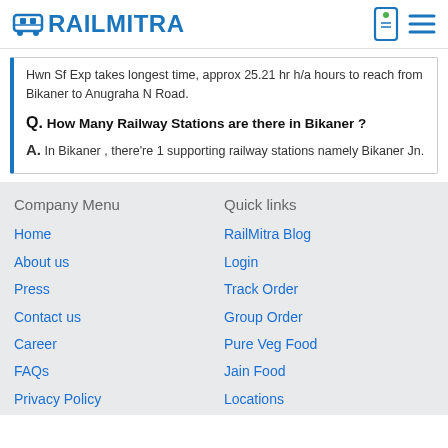RAILMITRA
Hwn Sf Exp takes longest time, approx 25.21 hr h/a hours to reach from Bikaner to Anugraha N Road.
Q. How Many Railway Stations are there in Bikaner ?
A. In Bikaner , there're 1 supporting railway stations namely Bikaner Jn.
Company Menu
Quick links
Home
About us
Press
Contact us
Career
FAQs
Privacy Policy
RailMitra Blog
Login
Track Order
Group Order
Pure Veg Food
Jain Food
Locations